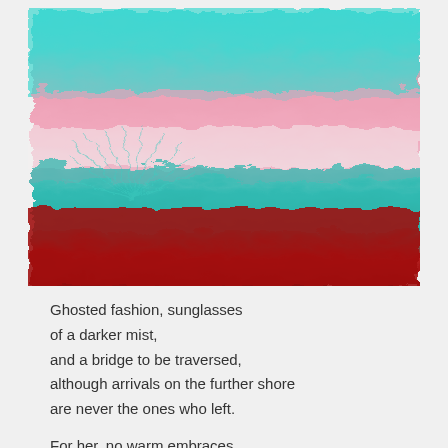[Figure (photo): Abstract photo of swirling liquid or paint with layers of teal/cyan at the top, pink and white in the middle, teal below, and deep red at the bottom, creating a textured wave-like pattern.]
Ghosted fashion, sunglasses
of a darker mist,
and a bridge to be traversed,
although arrivals on the further shore
are never the ones who left.

For her, no warm embraces